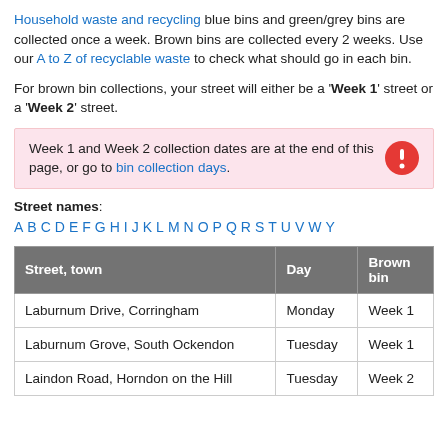Household waste and recycling blue bins and green/grey bins are collected once a week. Brown bins are collected every 2 weeks. Use our A to Z of recyclable waste to check what should go in each bin.
For brown bin collections, your street will either be a 'Week 1' street or a 'Week 2' street.
Week 1 and Week 2 collection dates are at the end of this page, or go to bin collection days.
Street names: A B C D E F G H I J K L M N O P Q R S T U V W Y
| Street, town | Day | Brown bin |
| --- | --- | --- |
| Laburnum Drive, Corringham | Monday | Week 1 |
| Laburnum Grove, South Ockendon | Tuesday | Week 1 |
| Laindon Road, Horndon on the Hill | Tuesday | Week 2 |